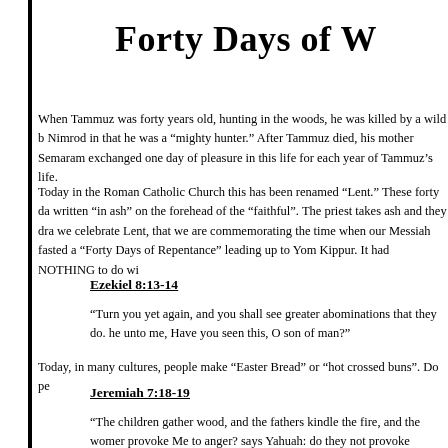Forty Days of W
When Tammuz was forty years old, hunting in the woods, he was killed by a wild b... Nimrod in that he was a "mighty hunter." After Tammuz died, his mother Semaram... exchanged one day of pleasure in this life for each year of Tammuz's life.
Today in the Roman Catholic Church this has been renamed "Lent." These forty da... written "in ash" on the forehead of the "faithful". The priest takes ash and they dra... we celebrate Lent, that we are commemorating the time when our Messiah fasted a... "Forty Days of Repentance" leading up to Yom Kippur. It had NOTHING to do wi...
Ezekiel 8:13-14
"Turn you yet again, and you shall see greater abominations that they do. he unto me, Have you seen this, O son of man?"
Today, in many cultures, people make "Easter Bread" or "hot crossed buns". Do pe...
Jeremiah 7:18-19
"The children gather wood, and the fathers kindle the fire, and the womer... provoke Me to anger? says Yahuah: do they not provoke themselves to th...
No wonder the Catholic Church abolished the so-called Old Testament. It is a glari...